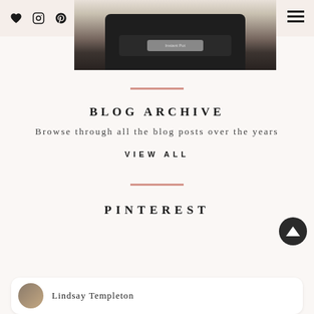Navigation header with heart, Instagram, Pinterest, email icons and hamburger menu
[Figure (photo): Photo of a black Instant Pot / electric pressure cooker on a kitchen counter, cropped to show top portion]
BLOG ARCHIVE
Browse through all the blog posts over the years
VIEW ALL
PINTEREST
Lindsay Templeton